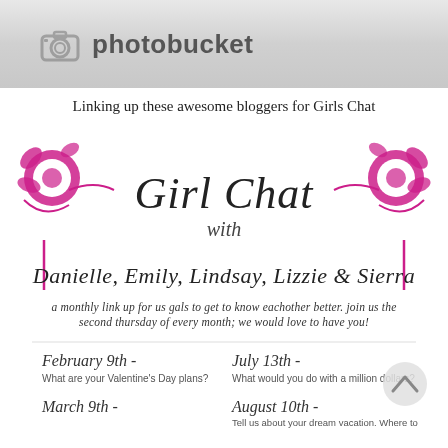[Figure (logo): Photobucket logo banner with camera icon and 'photobucket' text on gray gradient background]
Linking up these awesome bloggers for Girls Chat
[Figure (infographic): Girl Chat promotional graphic with decorative pink swirl flourishes, script text reading 'Girl Chat with Danielle, Emily, Lindsay, Lizzie & Sierra', subtitle 'a monthly link up for us gals to get to know eachother better. join us the second thursday of every month; we would love to have you!', followed by schedule entries: February 9th - What are your Valentine's Day plans?, July 13th - What would you do with a million dollars?, March 9th -, August 10th - Tell us about your dream vacation. Where to]